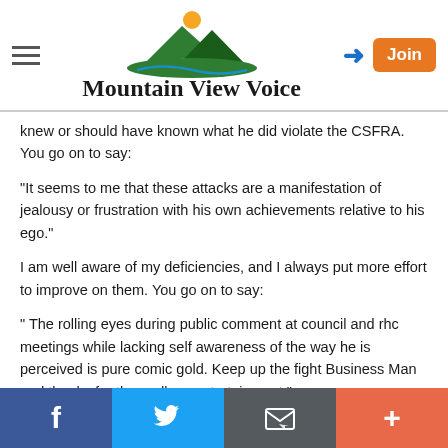Mountain View Voice
knew or should have known what he did violate the CSFRA. You go on to say:
“It seems to me that these attacks are a manifestation of jealousy or frustration with his own achievements relative to his ego.”
I am well aware of my deficiencies, and I always put more effort to improve on them. You go on to say:
“ The rolling eyes during public comment at council and rhc meetings while lacking self awareness of the way he is perceived is pure comic gold. Keep up the fight Business Man and thanks for the endless entertainment.”
Facebook | Twitter | Email | More